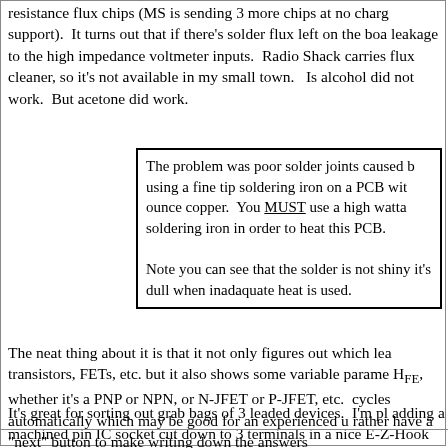resistance flux chips (MS is sending 3 more chips at no charge support). It turns out that if there's solder flux left on the board leakage to the high impedance voltmeter inputs. Radio Shack carries flux cleaner, so it's not available in my small town. Is alcohol did not work. But acetone did work.
The problem was poor solder joints caused by using a fine tip soldering iron on a PCB with ounce copper. You MUST use a high wattage soldering iron in order to heat this PCB.

Note you can see that the solder is not shiny it's dull when inadaquate heat is used.
The neat thing about it is that it not only figures out which lea transistors, FETs, etc. but it also shows some variable parame HFE, whether it's a PNP or NPN, or N-JFET or P-JFET, etc. cycles automatically which may be good for an experienced u rather have a "next" button to make writing down the answers
It's great for sorting out grab bags of 3 leaded devices. I'm pl adding a machined pin IC socket cut down to 3 terminals in a nice E-Z-Hook grabbers to replace the cheezy ones that come